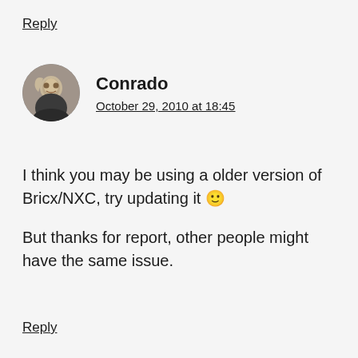Reply
Conrado
October 29, 2010 at 18:45
I think you may be using a older version of Bricx/NXC, try updating it 🙂
But thanks for report, other people might have the same issue.
Reply